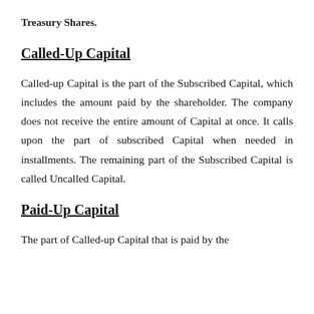Treasury Shares.
Called-Up Capital
Called-up Capital is the part of the Subscribed Capital, which includes the amount paid by the shareholder. The company does not receive the entire amount of Capital at once. It calls upon the part of subscribed Capital when needed in installments. The remaining part of the Subscribed Capital is called Uncalled Capital.
Paid-Up Capital
The part of Called-up Capital that is paid by the